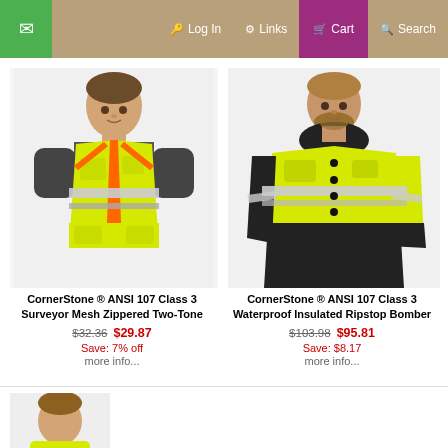✉  Log In  ⚙ Links  🛒 Cart  🔍 Search
[Figure (photo): Man wearing a high-visibility yellow/green ANSI 107 Class 3 surveyor mesh zippered two-tone safety vest with orange and reflective gray stripes]
CornerStone ® ANSI 107 Class 3 Surveyor Mesh Zippered Two-Tone
$32.36  $29.87
Save: 7% off
more info...
[Figure (photo): Man wearing a high-visibility yellow/green and black ANSI 107 Class 3 waterproof insulated ripstop bomber jacket with reflective gray stripes]
CornerStone ® ANSI 107 Class 3 Waterproof Insulated Ripstop Bomber
$103.98  $95.81
Save: $8.17
more info...
[Figure (photo): Partial view of another product model at the bottom of the page]